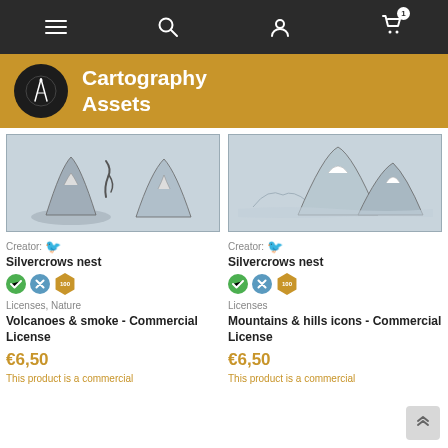Navigation bar with menu, search, user, and cart icons
Cartography Assets
[Figure (illustration): Product image showing cartoon-style volcano and smoke icons on a light blue-grey background]
Creator: Silvercrows nest
Licenses, Nature
Volcanoes & smoke - Commercial License
€6,50
This product is a commercial
[Figure (illustration): Product image showing mountain and hills icons on a light blue-grey background]
Creator: Silvercrows nest
Licenses
Mountains & hills icons - Commercial License
€6,50
This product is a commercial